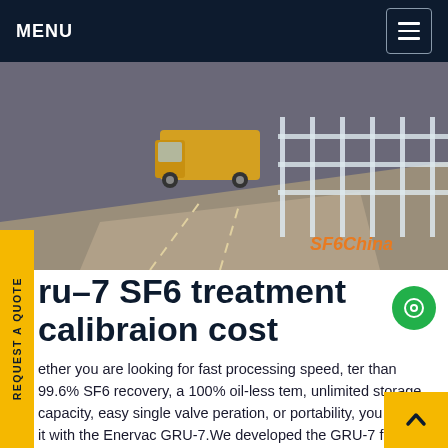MENU
[Figure (photo): Street scene with a yellow vehicle and white metal fence/railing, watermarked 'SF6China']
ru-7 SF6 treatment calibraion cost
ether you are looking for fast processing speed, ter than 99.6% SF6 recovery, a 100% oil-less tem, unlimited storage capacity, easy single valve peration, or portability, you will find it with the Enervac GRU-7.We developed the GRU-7 for our customers who found they needed more storage and recovery...Get price